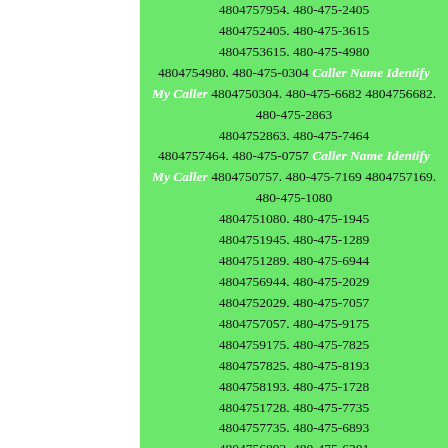4804757954. 480-475-2405 4804752405. 480-475-3615 4804753615. 480-475-4980 4804754980. 480-475-0304 Caller Name Identify My Caller 4804750304. 480-475-6682 4804756682. 480-475-2863 4804752863. 480-475-7464 4804757464. 480-475-0757 Caller Name Identify My Caller 4804750757. 480-475-7169 4804757169. 480-475-1080 4804751080. 480-475-1945 4804751945. 480-475-1289 4804751289. 480-475-6944 4804756944. 480-475-2029 4804752029. 480-475-7057 4804757057. 480-475-9175 4804759175. 480-475-7825 4804757825. 480-475-8193 4804758193. 480-475-1728 4804751728. 480-475-7735 4804757735. 480-475-6893 4804756893. 480-475-6201 4804756201. 480-475-0409 Caller Name Identify My Caller 4804750409. 480-475-2583 4804752583. 480-475-7945 4804757945. 480-475-0074